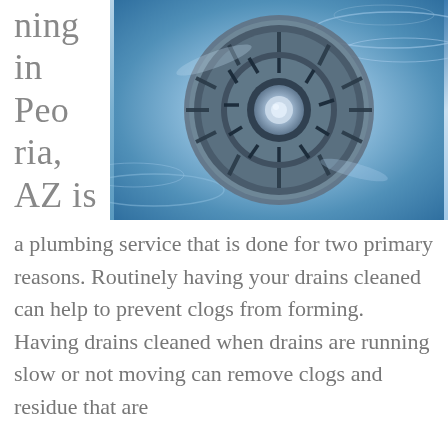ning in Peoria, AZ is
[Figure (photo): Close-up photo of a kitchen or bathroom sink drain with water swirling around it, tinted in blue hues]
a plumbing service that is done for two primary reasons. Routinely having your drains cleaned can help to prevent clogs from forming. Having drains cleaned when drains are running slow or not moving can remove clogs and residue that are